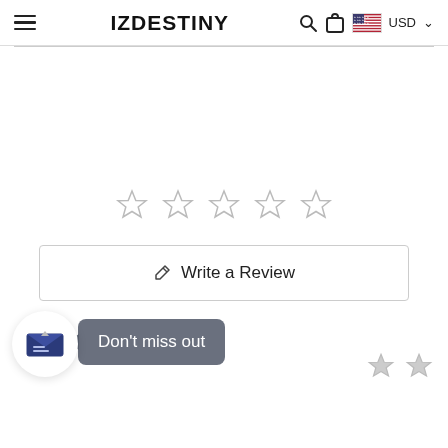IZDESTINY USD
[Figure (other): Five empty star rating icons in a row]
Write a Review
[Figure (infographic): Email subscription notification bubble with envelope icon and 'Don't miss out' tooltip, with partial star icons visible at bottom right]